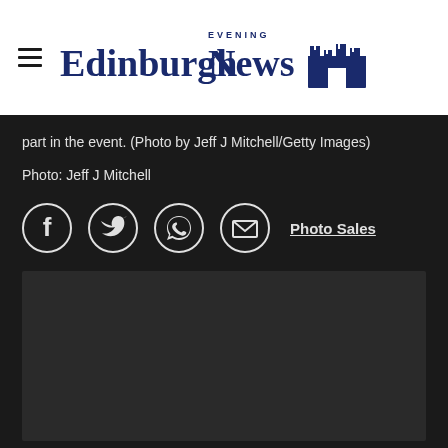Edinburgh Evening News
part in the event. (Photo by Jeff J Mitchell/Getty Images)
Photo: Jeff J Mitchell
[Figure (infographic): Row of four social media icons (Facebook, Twitter, WhatsApp, Email) and a Photo Sales link]
[Figure (other): Advertisement placeholder box]